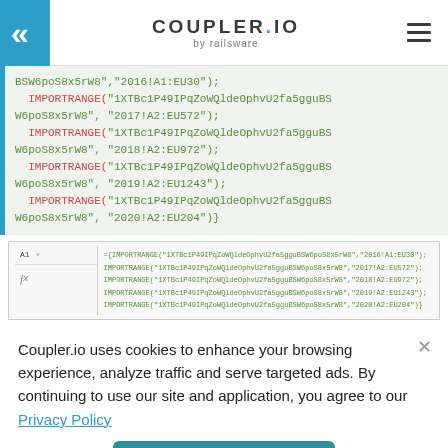COUPLER.IO by railsware
[Figure (screenshot): Code block showing IMPORTRANGE formulas with spreadsheet key and sheet ranges for years 2016-2020]
[Figure (screenshot): Spreadsheet formula bar showing the same IMPORTRANGE formulas in a Google Sheets cell A1]
Coupler.io uses cookies to enhance your browsing experience, analyze traffic and serve targeted ads. By continuing to use our site and application, you agree to our Privacy Policy
ACCEPT